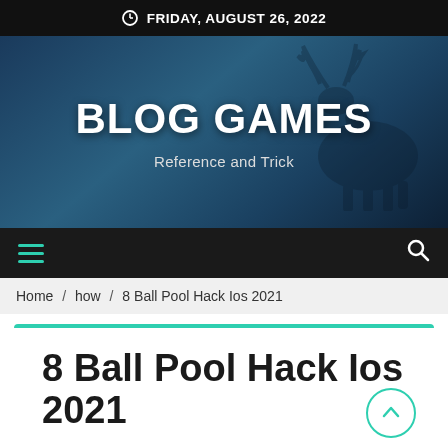FRIDAY, AUGUST 26, 2022
[Figure (illustration): Blog Games website hero banner with dark blue background showing a deer silhouette, large bold white text 'BLOG GAMES' and subtitle 'Reference and Trick']
BLOG GAMES
Reference and Trick
Home / how / 8 Ball Pool Hack Ios 2021
8 Ball Pool Hack Ios 2021